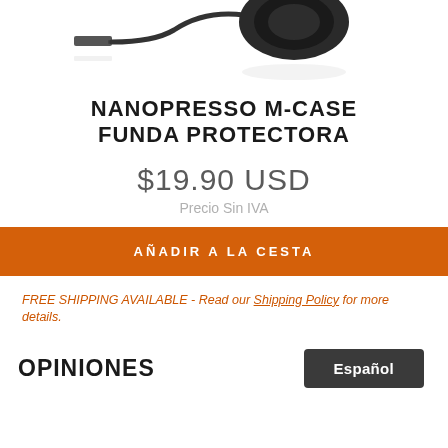[Figure (photo): Partial view of a Nanopresso M-Case headset/product with cable, shown from above on white background with reflection]
NANOPRESSO M-CASE
FUNDA PROTECTORA
$19.90 USD
Precio Sin IVA
AÑADIR A LA CESTA
FREE SHIPPING AVAILABLE - Read our Shipping Policy for more details.
OPINIONES
Español